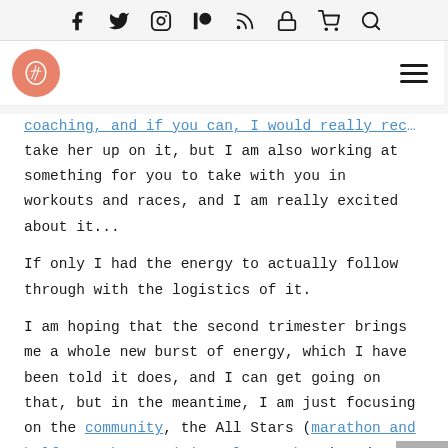[social icons: Facebook, Twitter, Instagram, Patreon, RSS, Lock, Cart, Search]
coaching, and if you can, I would really recommend you take her up on it, but I am also working at something for you to take with you in workouts and races, and I am really excited about it...
If only I had the energy to actually follow through with the logistics of it.
I am hoping that the second trimester brings me a whole new burst of energy, which I have been told it does, and I can get going on that, but in the meantime, I am just focusing on the community, the All Stars (marathon and half marathon training plan members) and Strong Stars (strength training